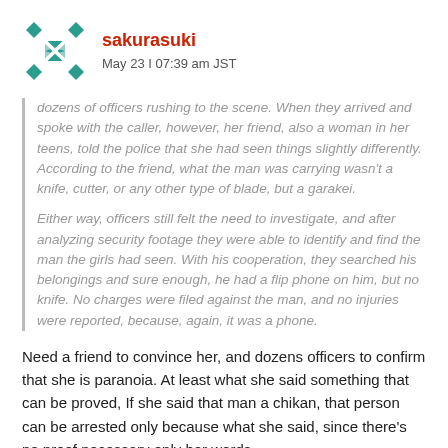sakurasuki — May 23 | 07:39 am JST
dozens of officers rushing to the scene. When they arrived and spoke with the caller, however, her friend, also a woman in her teens, told the police that she had seen things slightly differently. According to the friend, what the man was carrying wasn't a knife, cutter, or any other type of blade, but a garakei.

Either way, officers still felt the need to investigate, and after analyzing security footage they were able to identify and find the man the girls had seen. With his cooperation, they searched his belongings and sure enough, he had a flip phone on him, but no knife. No charges were filed against the man, and no injuries were reported, because, again, it was a phone.
Need a friend to convince her, and dozens officers to confirm that she is paranoia. At least what she said something that can be proved, If she said that man a chikan, that person can be arrested only because what she said, since there's no proof necessary only her words.
-4  ( +13 / -17 )